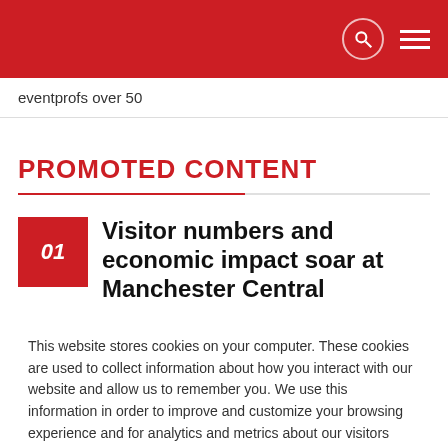eventprofs over 50
PROMOTED CONTENT
Visitor numbers and economic impact soar at Manchester Central
This website stores cookies on your computer. These cookies are used to collect information about how you interact with our website and allow us to remember you. We use this information in order to improve and customize your browsing experience and for analytics and metrics about our visitors both on this website and other media. To find out more about the cookies we use, see our Privacy Policy